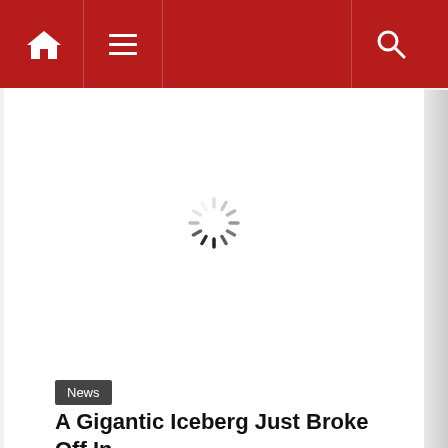Navigation bar with home, menu, and search icons
[Figure (other): Loading spinner (animated circular loading indicator) centered in a large white advertisement or image area]
News
A Gigantic Iceberg Just Broke Off In